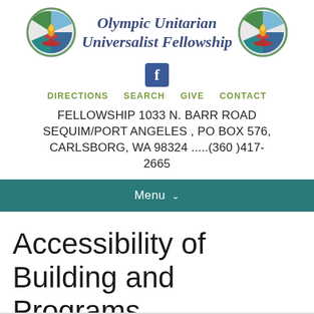[Figure (logo): Olympic Unitarian Universalist Fellowship logo — circular stained glass style icon with chalice flame, green/blue/red segments. Appears twice flanking the organization name.]
Olympic Unitarian Universalist Fellowship
[Figure (logo): Facebook 'f' icon in blue square rounded rectangle button]
DIRECTIONS   SEARCH   GIVE   CONTACT
FELLOWSHIP 1033 N. BARR ROAD SEQUIM/PORT ANGELES , PO BOX 576, CARLSBORG, WA 98324 .....(360 )417-2665
Menu ∨
Accessibility of Building and Programs